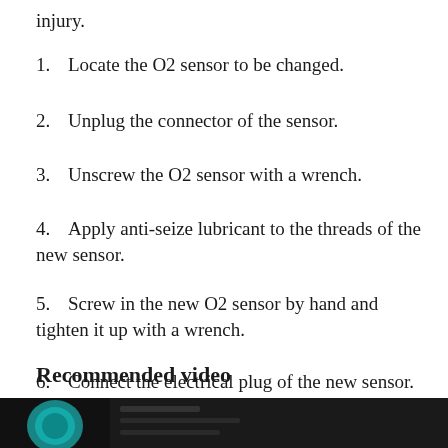injury.
1.  Locate the O2 sensor to be changed.
2.  Unplug the connector of the sensor.
3.  Unscrew the O2 sensor with a wrench.
4.  Apply anti-seize lubricant to the threads of the new sensor.
5.  Screw in the new O2 sensor by hand and tighten it up with a wrench.
6.  Connect the electrical plug of the new sensor.
Recommended video
[Figure (photo): Video thumbnail showing a person working on a vehicle O2 sensor, dark background with teal/turquoise color accent]